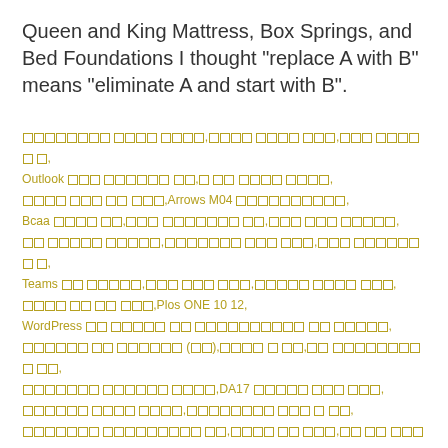Queen and King Mattress, Box Springs, and Bed Foundations I thought "replace A with B" means "eliminate A and start with B".
[Korean text block with mixed English]: ...Outlook...Arrows M04...Bcaa...Teams...Plos ONE 10 12,
WordPress...DA17...2020...